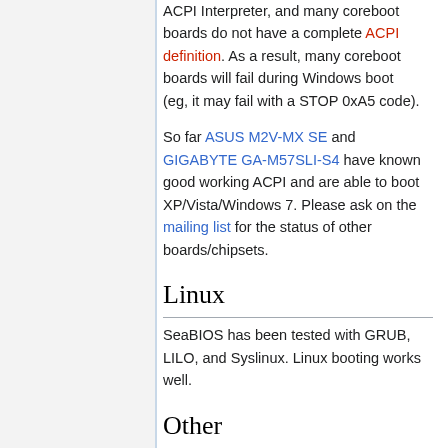ACPI Interpreter, and many coreboot boards do not have a complete ACPI definition. As a result, many coreboot boards will fail during Windows boot (eg, it may fail with a STOP 0xA5 code).
So far ASUS M2V-MX SE and GIGABYTE GA-M57SLI-S4 have known good working ACPI and are able to boot XP/Vista/Windows 7. Please ask on the mailing list for the status of other boards/chipsets.
Linux
SeaBIOS has been tested with GRUB, LILO, and Syslinux. Linux booting works well.
Other
SeaBIOS has also been tested with